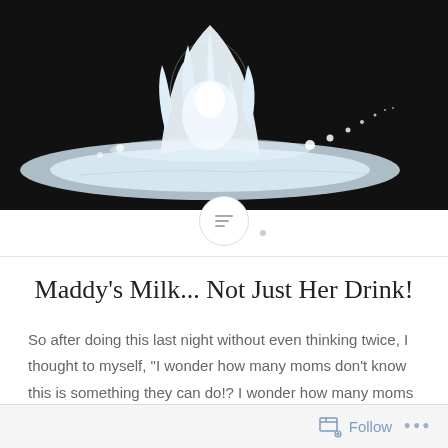[Figure (photo): Close-up photo of a milk splash drop on a dark surface — a crown-shaped white liquid splash with droplets scattered around on a black background]
Maddy's Milk... Not Just Her Drink!
So after doing this last night without even thinking twice, I thought to myself, "I wonder how many moms don't know this is something they can do!?  I wonder how many moms don't know all the wondrous things breast milk can do besides nurturing our little ones by way of nursing?!"
So, with that I give you...
Follow   ...